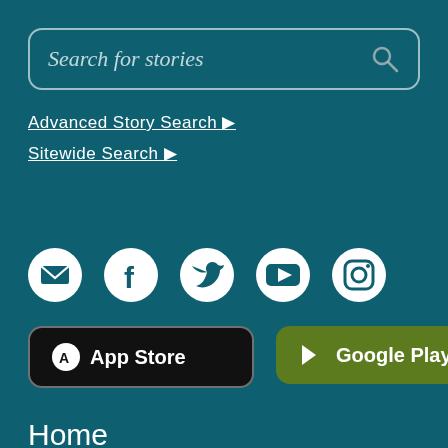Search for stories
Advanced Story Search ▶
Sitewide Search ▶
[Figure (infographic): Social media icons: Email, Facebook, Twitter, YouTube, Instagram]
[Figure (infographic): App Store and Google Play download buttons]
Home
Stories
Tours